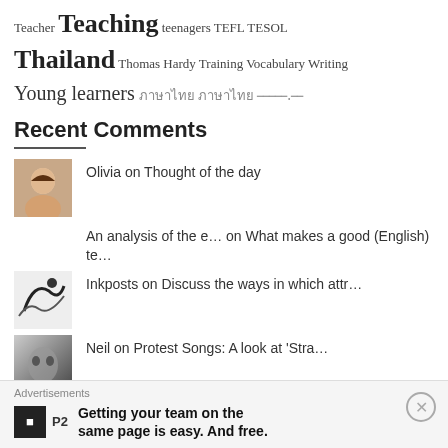Teacher Teaching teenagers TEFL TESOL Thailand Thomas Hardy Training Vocabulary Writing Young learners [script text]
Recent Comments
Olivia on Thought of the day
An analysis of the e… on What makes a good (English) te…
Inkposts on Discuss the ways in which attr…
Neil on Protest Songs: A look at 'Stra…
Neil on Discuss the ways in which attr…
Advertisements Getting your team on the same page is easy. And free.